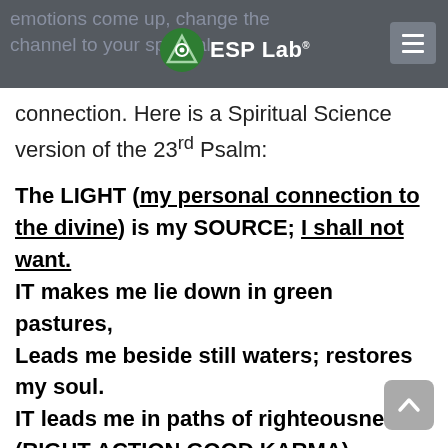emotions come up, change the channel to your spiritual — ESP Lab.
connection. Here is a Spiritual Science version of the 23rd Psalm:
The LIGHT (my personal connection to the divine) is my SOURCE; I shall not want. IT makes me lie down in green pastures, Leads me beside still waters; restores my soul. IT leads me in paths of righteousness (RIGHT ACTION GOOD KARMA)